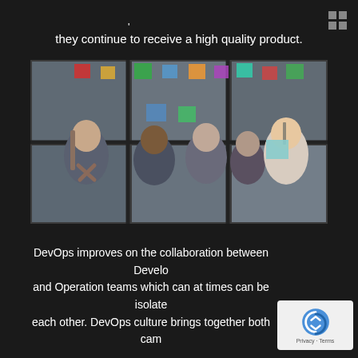they continue to receive a high quality product.
[Figure (photo): Group of colleagues collaborating in an office space, seen through a glass wall with colorful sticky notes. Five people, including a woman writing on the glass and others looking on.]
DevOps improves on the collaboration between Develo and Operation teams which can at times can be isolate each other. DevOps culture brings together both cam
[Figure (logo): reCAPTCHA badge with Google reCAPTCHA logo and Privacy - Terms text]